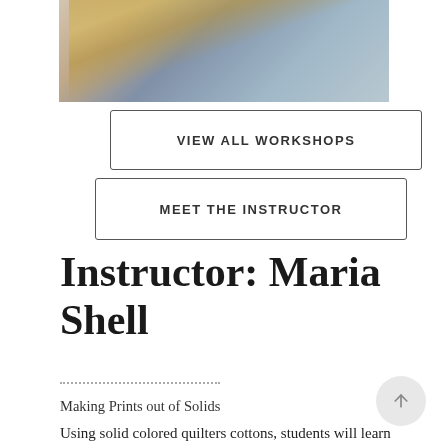[Figure (photo): Photo of instructor Maria Shell — woman with blonde hair wearing a grey knit cowl scarf and blue top, cropped at upper body]
VIEW ALL WORKSHOPS
MEET THE INSTRUCTOR
Instructor: Maria Shell
Making Prints out of Solids
Using solid colored quilters cottons, students will learn how to stitch an assortment of pieced prints including stripes, chevrons, polka dots, and pointy